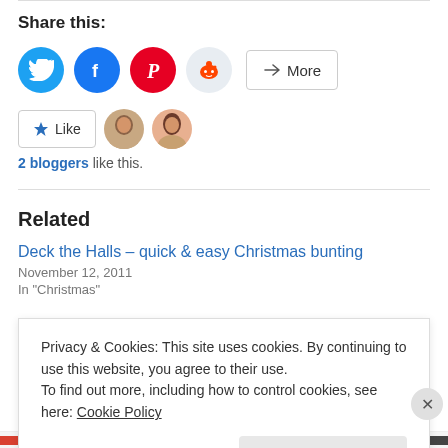Share this:
[Figure (infographic): Social sharing buttons: Twitter (blue circle), Facebook (blue circle), Pinterest (red circle), Reddit (light blue circle), and a More button with share icon]
[Figure (infographic): Like button with star icon, followed by two circular avatar images of bloggers]
2 bloggers like this.
Related
Deck the Halls – quick & easy Christmas bunting
November 12, 2011
In "Christmas"
Privacy & Cookies: This site uses cookies. By continuing to use this website, you agree to their use.
To find out more, including how to control cookies, see here: Cookie Policy
Close and accept